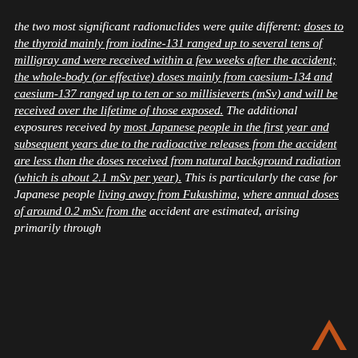the two most significant radionuclides were quite different: doses to the thyroid mainly from iodine-131 ranged up to several tens of milligray and were received within a few weeks after the accident; the whole-body (or effective) doses mainly from caesium-134 and caesium-137 ranged up to ten or so millisieverts (mSv) and will be received over the lifetime of those exposed. The additional exposures received by most Japanese people in the first year and subsequent years due to the radioactive releases from the accident are less than the doses received from natural background radiation (which is about 2.1 mSv per year). This is particularly the case for Japanese people living away from Fukushima, where annual doses of around 0.2 mSv from the accident are estimated, arising primarily through